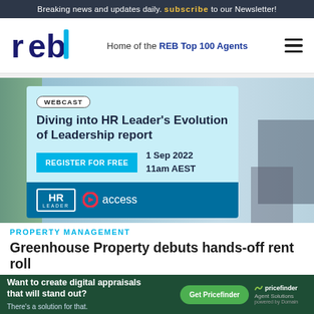Breaking news and updates daily. subscribe to our Newsletter!
[Figure (logo): REB logo - stylized letters r, e, b in dark navy with teal cursor element]
Home of the REB Top 100 Agents
[Figure (infographic): Advertisement banner: WEBCAST label, headline 'Diving into HR Leader's Evolution of Leadership report', REGISTER FOR FREE button, date '1 Sep 2022 11am AEST', HR Leader and access logos on teal background]
PROPERTY MANAGEMENT
Greenhouse Property debuts hands-off rent roll
By J...
[Figure (infographic): Bottom ad banner: 'Want to create digital appraisals that will stand out? There's a solution for that.' with Get Pricefinder button and pricefinder Agent Solutions branding on dark green background]